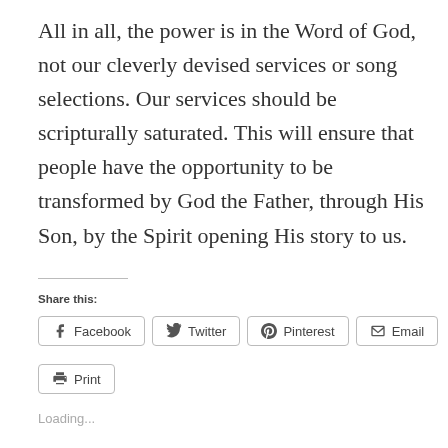All in all, the power is in the Word of God, not our cleverly devised services or song selections. Our services should be scripturally saturated. This will ensure that people have the opportunity to be transformed by God the Father, through His Son, by the Spirit opening His story to us.
Share this:
Facebook
Twitter
Pinterest
Email
Print
Loading...